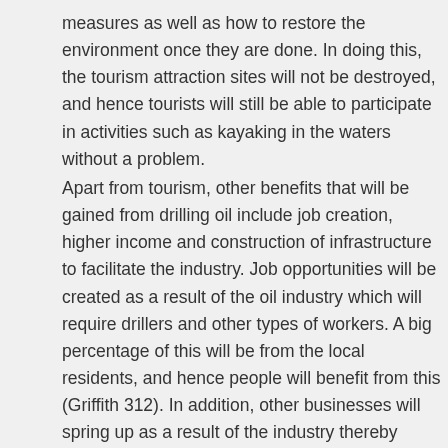measures as well as how to restore the environment once they are done. In doing this, the tourism attraction sites will not be destroyed, and hence tourists will still be able to participate in activities such as kayaking in the waters without a problem.
Apart from tourism, other benefits that will be gained from drilling oil include job creation, higher income and construction of infrastructure to facilitate the industry. Job opportunities will be created as a result of the oil industry which will require drillers and other types of workers. A big percentage of this will be from the local residents, and hence people will benefit from this (Griffith 312). In addition, other businesses will spring up as a result of the industry thereby making more jobs available. More people will be employed and thus improve their economic standing by providing them a source of livelihood. Revenue from the industry will be part of Bahamas' Gross Domestic Product (GDP) thereby contributing to its growth. The country will have a better economy due to higher income and hence be more prosperous and developed. The advancement of the oil industry will lead to a better infrastructure